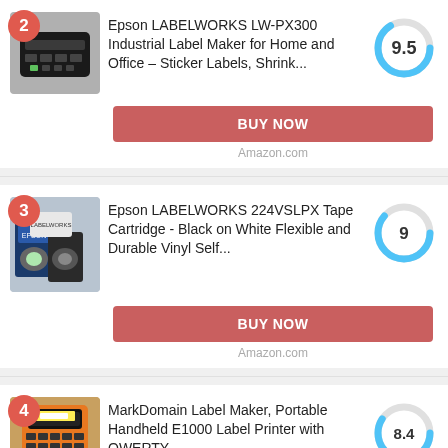[Figure (photo): Epson LABELWORKS LW-PX300 label maker device, black with green accents, rank badge #2]
Epson LABELWORKS LW-PX300 Industrial Label Maker for Home and Office – Sticker Labels, Shrink...
[Figure (donut-chart): Score 9.5]
BUY NOW
Amazon.com
[Figure (photo): Epson LABELWORKS tape cartridges, rank badge #3]
Epson LABELWORKS 224VSLPX Tape Cartridge - Black on White Flexible and Durable Vinyl Self...
[Figure (donut-chart): Score 9]
BUY NOW
Amazon.com
[Figure (photo): MarkDomain Label Maker, orange handheld device, rank badge #4]
MarkDomain Label Maker, Portable Handheld E1000 Label Printer with QWERTY
[Figure (donut-chart): Score 8.4]